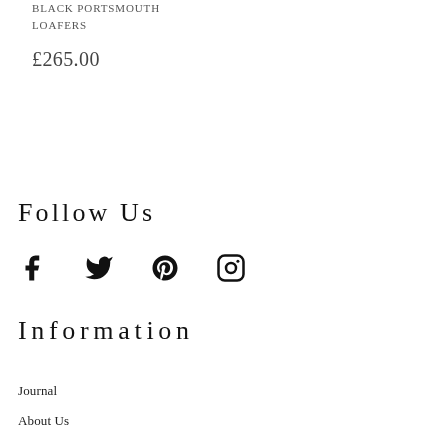BLACK PORTSMOUTH
LOAFERS
£265.00
Follow Us
[Figure (infographic): Social media icons: Facebook, Twitter, Pinterest, Instagram]
Information
Journal
About Us